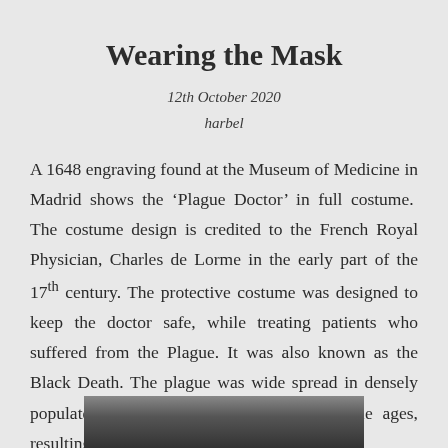Wearing the Mask
12th October 2020
harbel
A 1648 engraving found at the Museum of Medicine in Madrid shows the ‘Plague Doctor’ in full costume.  The costume design is credited to the French Royal Physician, Charles de Lorme in the early part of the 17th century. The protective costume was designed to keep the doctor safe, while treating patients who suffered from the Plague. It was also known as the Black Death. The plague was wide spread in densely populated cities across Europe in the middle ages, resulting in millions of deaths.
[Figure (photo): Partial view of a historical engraving or photograph of the Plague Doctor costume, shown at the bottom of the page.]